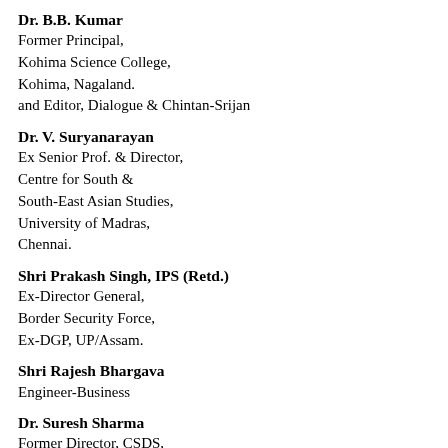Dr. B.B. Kumar
Former Principal,
Kohima Science College,
Kohima, Nagaland.
and Editor, Dialogue & Chintan-Srijan
Dr. V. Suryanarayan
Ex Senior Prof. & Director,
Centre for South &
South-East Asian Studies,
University of Madras,
Chennai.
Shri Prakash Singh, IPS (Retd.)
Ex-Director General,
Border Security Force,
Ex-DGP, UP/Assam.
Shri Rajesh Bhargava
Engineer-Business
Dr. Suresh Sharma
Former Director, CSDS,
New Delhi.
Dr. Shankar Sharan